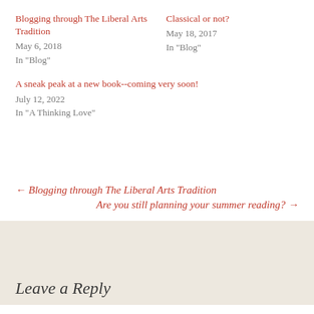Blogging through The Liberal Arts Tradition
May 6, 2018
In "Blog"
Classical or not?
May 18, 2017
In "Blog"
A sneak peak at a new book--coming very soon!
July 12, 2022
In "A Thinking Love"
← Blogging through The Liberal Arts Tradition
Are you still planning your summer reading? →
Leave a Reply